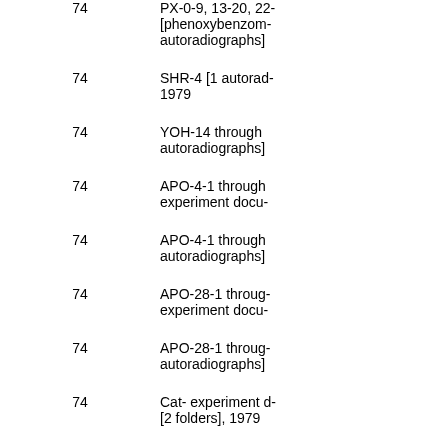| Box | Description |
| --- | --- |
| 74 | PX-0-9, 13-20, 22-[phenoxybenzom- autoradiographs] |
| 74 | SHR-4 [1 autorad- 1979 |
| 74 | YOH-14 through autoradiographs] |
| 74 | APO-4-1 through experiment docu- |
| 74 | APO-4-1 through autoradiographs] |
| 74 | APO-28-1 throug- experiment docu- |
| 74 | APO-28-1 throug- autoradiographs] |
| 74 | Cat- experiment d- [2 folders], 1979 |
| 75 | Cold brain w/ hot experiment docu- |
| 75 | Cold brain w/ hot [7 autoradiograph- |
| 75 | DG-206, 216-217 |